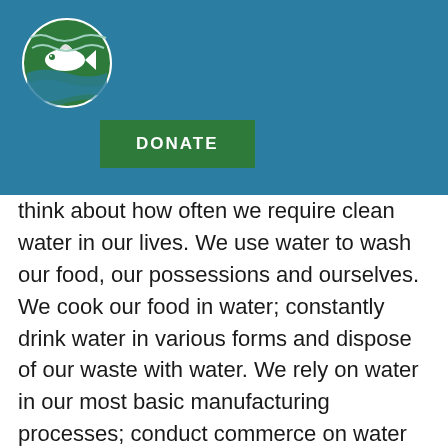[Figure (logo): Circular logo with a fish and water waves in green and teal colors]
DONATE
think about how often we require clean water in our lives. We use water to wash our food, our possessions and ourselves. We cook our food in water; constantly drink water in various forms and dispose of our waste with water. We rely on water in our most basic manufacturing processes; conduct commerce on water and harvest food directly from it. We play in, on and under water. Water is necessary to our lives on a lifetime, daily, hourly, minute-to-minute basis and we cannot substitute any other known